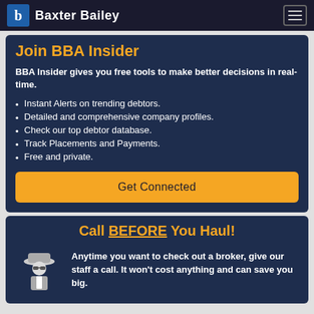Baxter Bailey
Join BBA Insider
BBA Insider gives you free tools to make better decisions in real-time.
Instant Alerts on trending debtors.
Detailed and comprehensive company profiles.
Check our top debtor database.
Track Placements and Payments.
Free and private.
Get Connected
Call BEFORE You Haul!
Anytime you want to check out a broker, give our staff a call. It won't cost anything and can save you big.